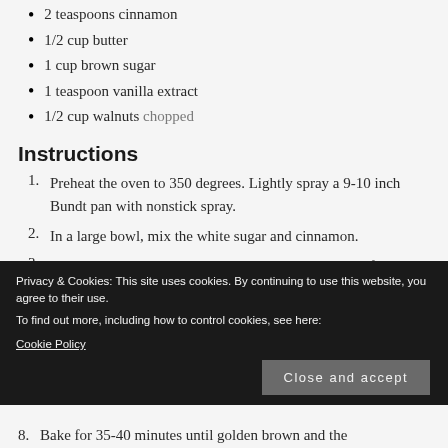2 teaspoons cinnamon
1/2 cup butter
1 cup brown sugar
1 teaspoon vanilla extract
1/2 cup walnuts chopped
Instructions
1. Preheat the oven to 350 degrees. Lightly spray a 9-10 inch Bundt pan with nonstick spray.
2. In a large bowl, mix the white sugar and cinnamon.
3. Separate the biscuits and cut each one into 6 pieces. If using small biscuits, cut each one into quarters. Place the biscuits in the sugar-cinnamon mixture and toss well to coat each piece.
4. Place the biscuits evenly in the Bundt pan.
Privacy & Cookies: This site uses cookies. By continuing to use this website, you agree to their use.
To find out more, including how to control cookies, see here:
Cookie Policy
Close and accept
8. Bake for 35-40 minutes until golden brown and the